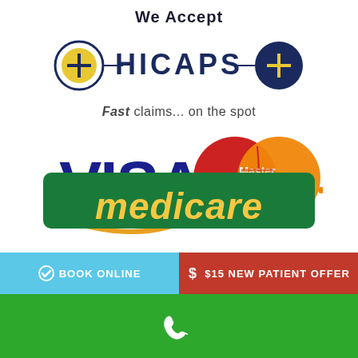We Accept
[Figure (logo): HICAPS logo with plus signs on either side connected by horizontal lines, dark navy text]
Fast claims... on the spot
[Figure (logo): VISA logo in blue with gold swoosh, and MasterCard logo with overlapping red and orange circles]
[Figure (logo): Medicare logo, white italic text on green background, partially visible]
BOOK ONLINE
$ $15 NEW PATIENT OFFER